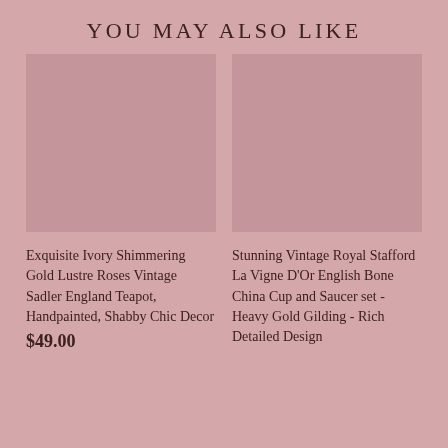YOU MAY ALSO LIKE
[Figure (photo): Product image placeholder for Exquisite Ivory Shimmering Gold Lustre Roses Vintage Sadler England Teapot]
Exquisite Ivory Shimmering Gold Lustre Roses Vintage Sadler England Teapot, Handpainted, Shabby Chic Decor
$49.00
[Figure (photo): Product image placeholder for Stunning Vintage Royal Stafford La Vigne D'Or English Bone China Cup and Saucer set]
Stunning Vintage Royal Stafford La Vigne D'Or English Bone China Cup and Saucer set - Heavy Gold Gilding - Rich Detailed Design